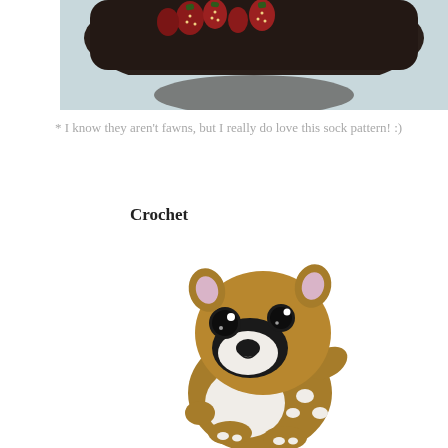[Figure (photo): Top portion of a dark crocheted sock with strawberry/red berry embellishments on a light blue-gray background, partially cropped.]
* I know they aren't fawns, but I really do love this sock pattern! :)
Crochet
[Figure (photo): A cute crocheted amigurumi fawn (deer) toy with golden-brown yarn body, large black button eyes with white highlights, pink inner ears, white muzzle area with black stitched nose and smile, white belly and spots on the back/side, shown on a white background.]